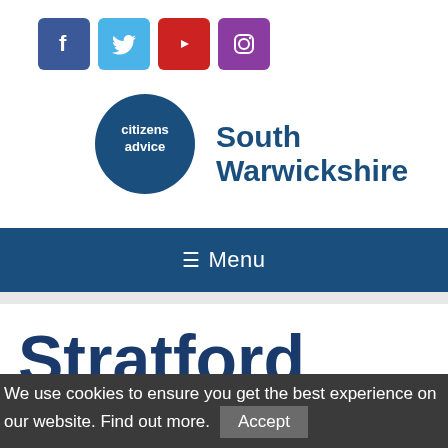[Figure (other): Social media icons: Facebook (blue), Twitter (light blue), YouTube (red), Instagram (purple)]
[Figure (logo): Citizens Advice South Warwickshire logo — dark blue speech bubble circle with 'citizens advice' text, beside 'South Warwickshire' text]
≡ Menu
Stratford
We use cookies to ensure you get the best experience on our website. Find out more. Accept